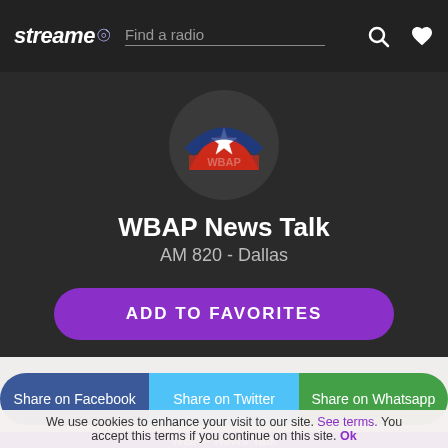streame — Find a radio
[Figure (logo): WBAP radio station logo with Texas star and red/white/blue colors inside a dark circle]
WBAP News Talk
AM 820 - Dallas
ADD TO FAVORITES
Share on Facebook
Share on Twitter
Share on Whatsapp
WBAP News Talk
We use cookies to enhance your visit to our site. See terms. You accept this terms if you continue on this site. Ok